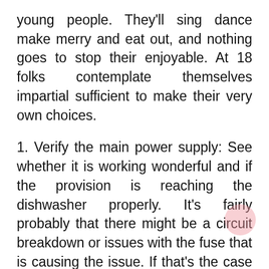young people. They'll sing dance make merry and eat out, and nothing goes to stop their enjoyable. At 18 folks contemplate themselves impartial sufficient to make their very own choices.
1. Verify the main power supply: See whether it is working wonderful and if the provision is reaching the dishwasher properly. It's fairly probably that there might be a circuit breakdown or issues with the fuse that is causing the issue. If that's the case you would want to interchange the fuse or the circuit breaker.